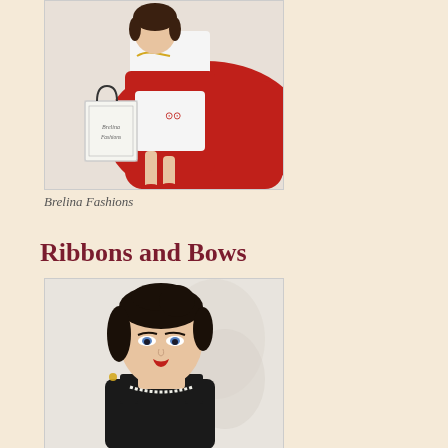[Figure (photo): A fashion doll dressed in a red and white outfit, sitting on a red surface, holding a small white shopping bag labeled 'Brelina Fashions'. The doll wears a gold chain necklace and red shoes.]
Brelina Fashions
Ribbons and Bows
[Figure (photo): A fashion doll with dark black upswept hair, wearing a black sleeveless dress and pearl necklace, with earrings. The doll has dramatic eye makeup and red lips, posed against a white floral background.]